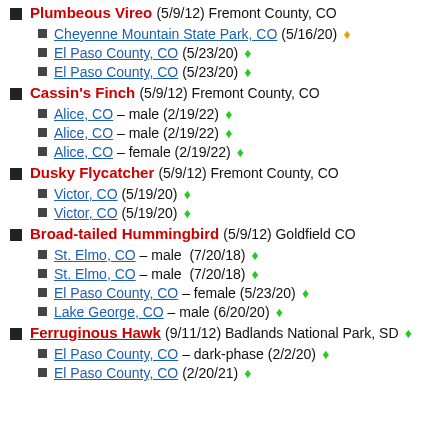Plumbeous Vireo (5/9/12) Fremont County, CO
Cheyenne Mountain State Park, CO (5/16/20) ♦
El Paso County, CO (5/23/20) ♦
El Paso County, CO (5/23/20) ♦
Cassin's Finch (5/9/12) Fremont County, CO
Alice, CO – male (2/19/22) ♦
Alice, CO – male (2/19/22) ♦
Alice, CO – female (2/19/22) ♦
Dusky Flycatcher (5/9/12) Fremont County, CO
Victor, CO (5/19/20) ♦
Victor, CO (5/19/20) ♦
Broad-tailed Hummingbird (5/9/12) Goldfield CO
St. Elmo, CO – male (7/20/18) ♦
St. Elmo, CO – male (7/20/18) ♦
El Paso County, CO – female (5/23/20) ♦
Lake George, CO – male (6/20/20) ♦
Ferruginous Hawk (9/11/12) Badlands National Park, SD ♦
El Paso County, CO – dark-phase (2/2/20) ♦
El Paso County, CO (2/20/21) ♦